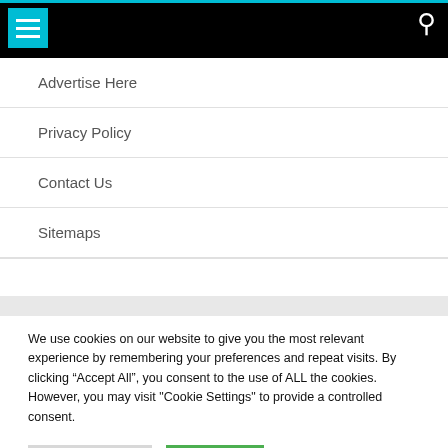Navigation header with menu and search icons
Advertise Here
Privacy Policy
Contact Us
Sitemaps
We use cookies on our website to give you the most relevant experience by remembering your preferences and repeat visits. By clicking “Accept All”, you consent to the use of ALL the cookies. However, you may visit "Cookie Settings" to provide a controlled consent.
Cookie Settings | Accept All